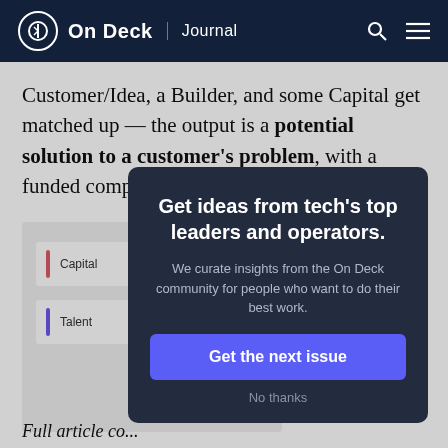On Deck Journal
Customer/Idea, a Builder, and some Capital get matched up — the output is a potential solution to a customer's problem, with a funded company planning to scale it to th...
[Figure (infographic): Partial infographic showing rows labeled 'Capital' and 'Talent' with colored bars, and a 'Supply Side' label at the bottom]
Full article text continues below...
Get ideas from tech's top leaders and operators.
We curate insights from the On Deck community for people who want to do their best work.
Get the next issue
No thanks